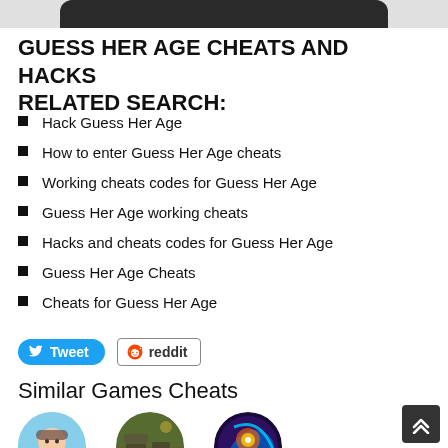[Figure (screenshot): Partial view of a mobile phone top edge/bezel (dark rounded rectangle) — top crop of a device screenshot]
GUESS HER AGE CHEATS AND HACKS RELATED SEARCH:
Hack Guess Her Age
How to enter Guess Her Age cheats
Working cheats codes for Guess Her Age
Guess Her Age working cheats
Hacks and cheats codes for Guess Her Age
Guess Her Age Cheats
Cheats for Guess Her Age
[Figure (other): Tweet button (blue rounded) and Reddit button (bordered) social share buttons]
Similar Games Cheats
[Figure (photo): Three circular game thumbnail images at the bottom of the page (partially visible)]